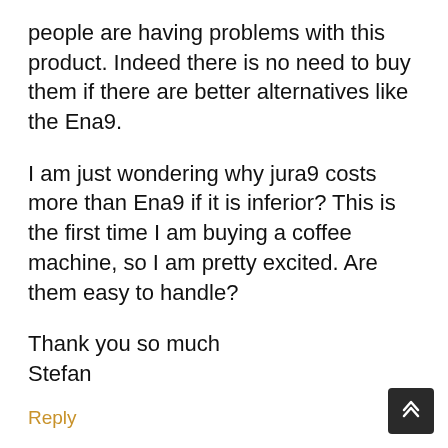people are having problems with this product. Indeed there is no need to buy them if there are better alternatives like the Ena9.
I am just wondering why jura9 costs more than Ena9 if it is inferior? This is the first time I am buying a coffee machine, so I am pretty excited. Are them easy to handle?
Thank you so much
Stefan
Reply